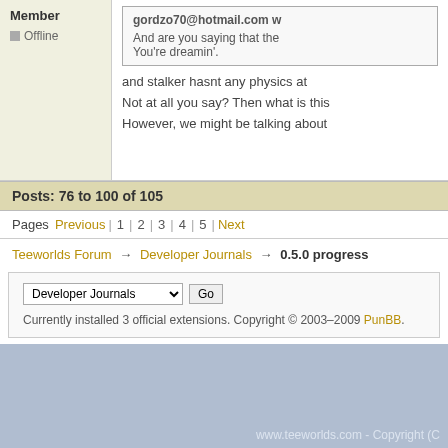Member
Offline
gordzo70@hotmail.com w...
And are you saying that the...
You're dreamin'.
and stalker hasnt any physics at...
Not at all you say? Then what is this...
However, we might be talking about...
Posts: 76 to 100 of 105
Pages  Previous  1  2  3  4  5  Next
Teeworlds Forum → Developer Journals → 0.5.0 progress
Developer Journals [dropdown] Go
Currently installed 3 official extensions. Copyright © 2003–2009 PunBB.
www.teeworlds.com - Copyright (C...